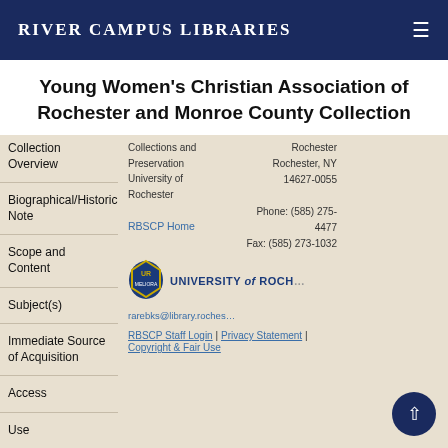River Campus Libraries
Young Women's Christian Association of Rochester and Monroe County Collection
Collection Overview
Biographical/Historical Note
Scope and Content
Subject(s)
Immediate Source of Acquisition
Access
Use
Collections and Preservation University of Rochester
RBSCP Home
[Figure (logo): University of Rochester shield logo with blue and gold colors]
UNIVERSITY of ROCHESTER
Rochester Rochester, NY 14627-0055 Phone: (585) 275-4477 Fax: (585) 273-1032
rarebks@library.rochester.edu
RBSCP Staff Login | Privacy Statement | Copyright & Fair Use